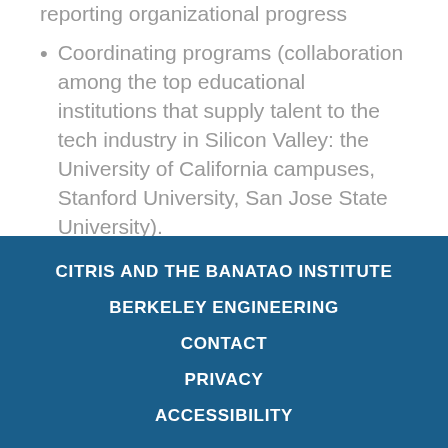Coordinating programs (collaboration among the top educational institutions that supply talent to the tech industry in Silicon Valley: the University of California campuses, Stanford University, San Jose State University).
CITRIS AND THE BANATAO INSTITUTE
BERKELEY ENGINEERING
CONTACT
PRIVACY
ACCESSIBILITY